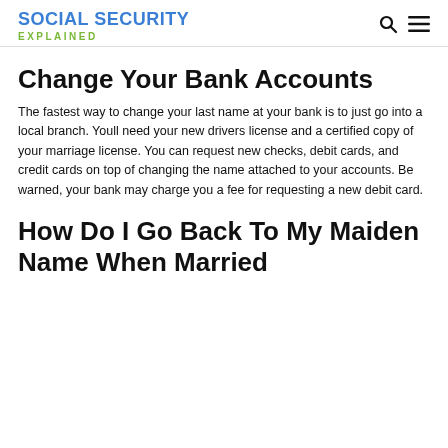SOCIAL SECURITY EXPLAINED
Change Your Bank Accounts
The fastest way to change your last name at your bank is to just go into a local branch. Youll need your new drivers license and a certified copy of your marriage license. You can request new checks, debit cards, and credit cards on top of changing the name attached to your accounts. Be warned, your bank may charge you a fee for requesting a new debit card.
How Do I Go Back To My Maiden Name When Married